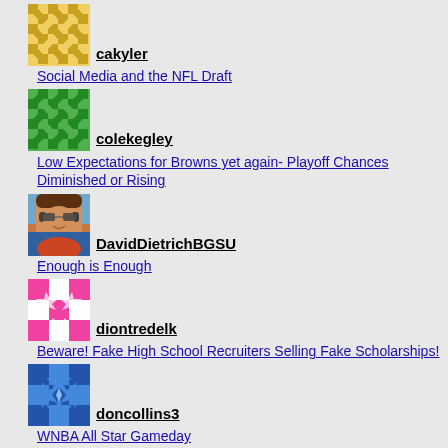[Figure (illustration): Gold/yellow diamond pattern avatar for cakyler]
cakyler
Social Media and the NFL Draft
[Figure (illustration): Green diamond pattern avatar for colekegley]
colekegley
Low Expectations for Browns yet again- Playoff Chances Diminished or Rising
[Figure (photo): Photo of DavidDietrichBGSU, young man with sunglasses]
DavidDietrichBGSU
Enough is Enough
[Figure (illustration): Pink/magenta starburst pattern avatar for diontredelk]
diontredelk
Beware! Fake High School Recruiters Selling Fake Scholarships!
[Figure (illustration): Blue diamond/star pattern avatar for doncollins3]
doncollins3
WNBA All Star Gameday
[Figure (illustration): Red/salmon diamond pattern avatar for drewigallagher]
drewigallagher